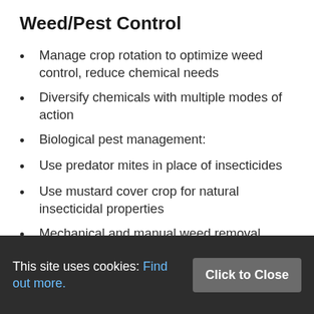Weed/Pest Control
Manage crop rotation to optimize weed control, reduce chemical needs
Diversify chemicals with multiple modes of action
Biological pest management:
Use predator mites in place of insecticides
Use mustard cover crop for natural insecticidal properties
Mechanical and manual weed removal when appropriate and feasible
Band spray and drip
This site uses cookies: Find out more. Click to Close